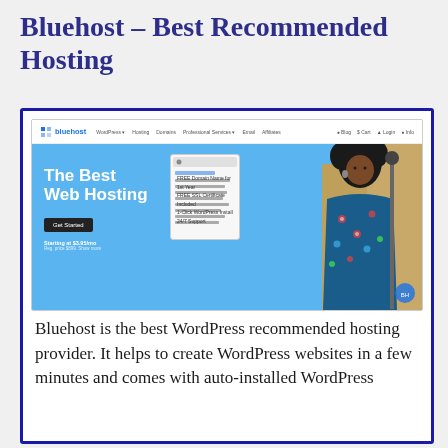Bluehost – Best Recommended Hosting
[Figure (screenshot): Screenshot of Bluehost website homepage showing 'The Best Web Hosting' hero banner with a person in a floral shirt, Get Started button, and starting price of $3.95/mo]
Bluehost is the best WordPress recommended hosting provider. It helps to create WordPress websites in a few minutes and comes with auto-installed WordPress...